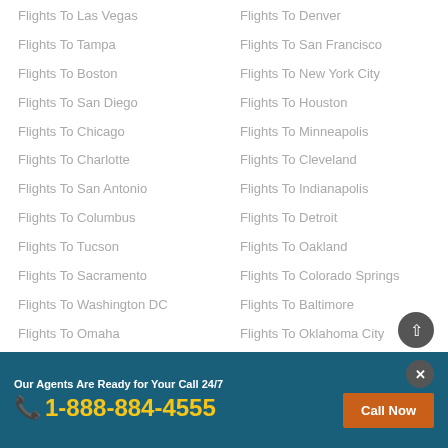Flights To Las Vegas
Flights To Tampa
Flights To Boston
Flights To San Diego
Flights To Chicago
Flights To Charlotte
Flights To San Antonio
Flights To Columbus
Flights To Tucson
Flights To Sacramento
Flights To Washington DC
Flights To Omaha
Flights To Denver
Flights To San Francisco
Flights To New York City
Flights To Houston
Flights To Minneapolis
Flights To Cleveland
Flights To Indianapolis
Flights To Detroit
Flights To Oakland
Flights To Colorado Springs
Flights To Baltimore
Flights To Oklahoma City
Our Agents Are Ready for Your Call 24/7
1-888-884-4555
Call Now